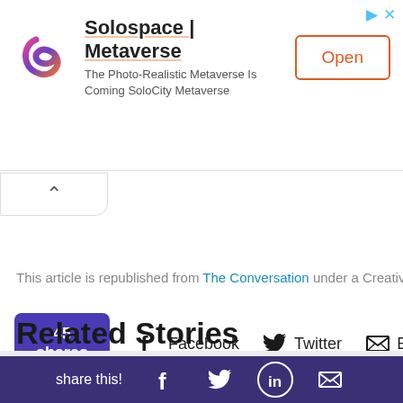[Figure (screenshot): Advertisement banner for Solospace | Metaverse with logo, tagline, and Open button]
This article is republished from The Conversation under a Creative Co
45 shares  Facebook  Twitter  Email
Related Stories
share this! [Facebook] [Twitter] [LinkedIn] [Email]